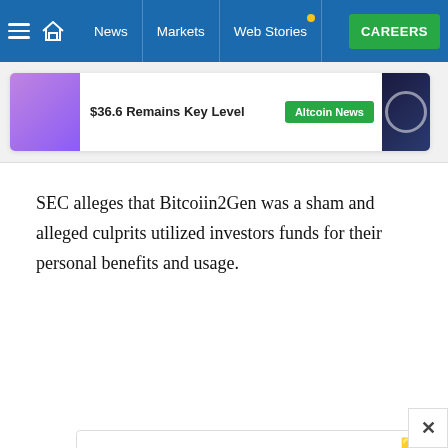News | Markets | Web Stories | CAREERS
[Figure (screenshot): Partial article card strip showing a purple thumbnail, truncated headline '$36.6 Remains Key Level', Altcoin News badge, and a dark circular logo thumbnail on the right]
SEC alleges that Bitcoiin2Gen was a sham and alleged culprits utilized investors funds for their personal benefits and usage.
[Figure (infographic): Advertisement placeholder graphic with an orange triangle illustration, angry emoji icon, and text 'Place your AD here' with a dark blue underline, and an X close button in the bottom-right corner]